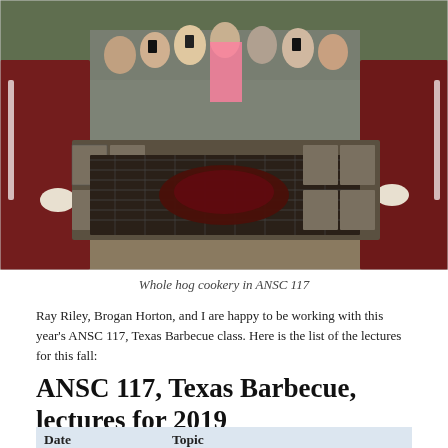[Figure (photo): Group of people in maroon shirts surrounding a large outdoor grill/smoker with a whole hog being cooked, crowd watching and taking photos]
Whole hog cookery in ANSC 117
Ray Riley, Brogan Horton, and I are happy to be working with this year's ANSC 117, Texas Barbecue class. Here is the list of the lectures for this fall:
ANSC 117, Texas Barbecue, lectures for 2019
| Date | Topic |
| --- | --- |
| August 30 | Introduction, expectations, brief history of barbecue, |